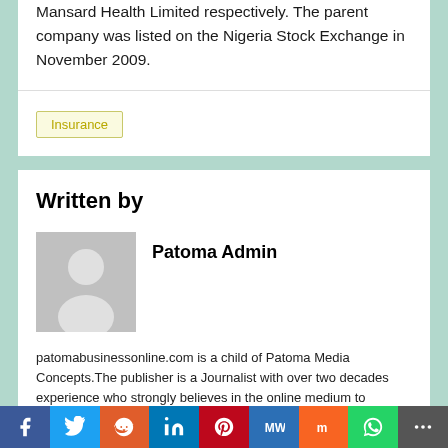Mansard Health Limited respectively. The parent company was listed on the Nigeria Stock Exchange in November 2009.
Insurance
Written by
Patoma Admin
[Figure (photo): Gray placeholder avatar silhouette image]
patomabusinessonline.com is a child of Patoma Media Concepts.The publisher is a Journalist with over two decades experience who strongly believes in the online medium to